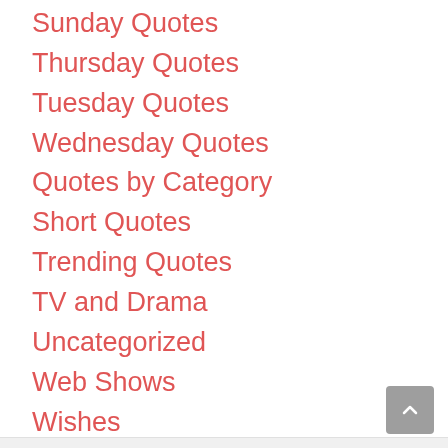Sunday Quotes
Thursday Quotes
Tuesday Quotes
Wednesday Quotes
Quotes by Category
Short Quotes
Trending Quotes
TV and Drama
Uncategorized
Web Shows
Wishes
Hindi Quotes